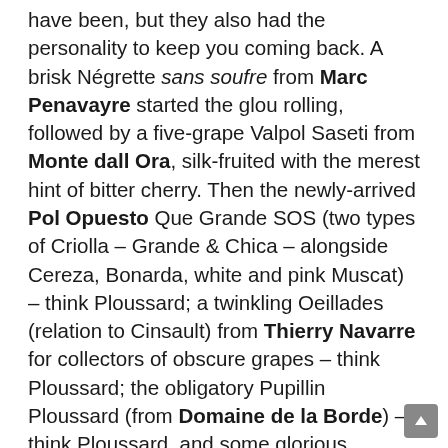have been, but they also had the personality to keep you coming back. A brisk Négrette sans soufre from Marc Penavayre started the glou rolling, followed by a five-grape Valpol Saseti from Monte dall Ora, silk-fruited with the merest hint of bitter cherry. Then the newly-arrived Pol Opuesto Que Grande SOS (two types of Criolla – Grande & Chica – alongside Cereza, Bonarda, white and pink Muscat) – think Ploussard; a twinkling Oeillades (relation to Cinsault) from Thierry Navarre for collectors of obscure grapes – think Ploussard; the obligatory Pupillin Ploussard (from Domaine de la Borde) – think Ploussard, and some glorious mishmashery: Palmento from Vino di Anna (Nerellos plus a mix of other red and white grapes), Evan Lewandowski's Feints field blend where Arneis convenes with Barbera, Dolcetto and Nebbiolo to make a wine that is not quite red and not quite rosé, and finally,